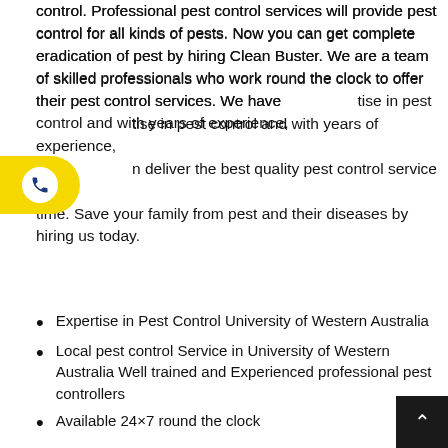control. Professional pest control services will provide pest control for all kinds of pests. Now you can get complete eradication of pest by hiring Clean Buster. We are a team of skilled professionals who work round the clock to offer their pest control services. We have expertise in pest control and with years of experience, can deliver the best quality pest control service in no time. Save your family from pest and their diseases by hiring us today.
[Figure (other): Yellow phone call button with white circle containing a blue phone handset icon, positioned on the left side of the page]
Expertise in Pest Control University of Western Australia
Local pest control Service in University of Western Australia Well trained and Experienced professional pest controllers
Available 24×7 round the clock